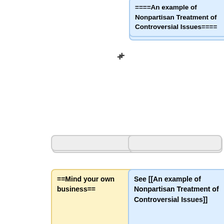[Figure (other): Diff/comparison view showing two columns of wiki markup content boxes with plus/minus operators, showing old text (yellow boxes on left) and new text (blue boxes on right). Top right blue box shows '====An example of Nonpartisan Treatment of Controversial Issues====', middle left yellow box shows '==Mind your own business==', middle right blue box shows 'See [[An example of Nonpartisan Treatment of Controversial Issues]]', bottom left yellow box shows '6. You will notice that when you are on the "edit" page, you have the power to edit other people's work. That', bottom right blue box shows '===More tools:===']